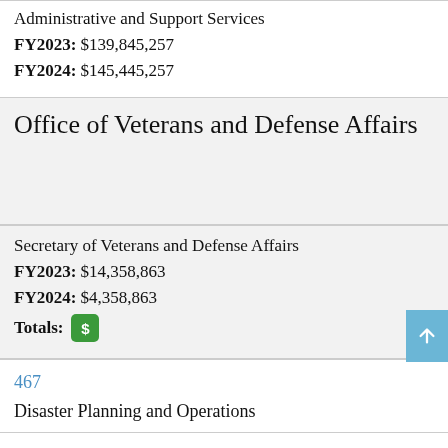Administrative and Support Services
FY2023: $139,845,257
FY2024: $145,445,257
Office of Veterans and Defense Affairs
Secretary of Veterans and Defense Affairs
FY2023: $14,358,863
FY2024: $4,358,863
Totals: $
467
Disaster Planning and Operations